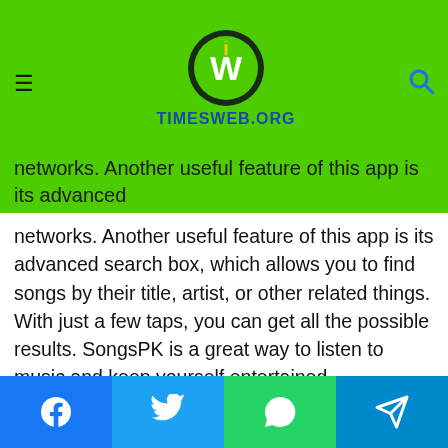TIMESWEB.ORG
networks. Another useful feature of this app is its advanced search box, which allows you to find songs by their title, artist, or other related things. With just a few taps, you can get all the possible results. SongsPK is a great way to listen to music and keep yourself entertained.
Another advantage of SongsPK is its compatibility. It is compatible with most devices and provides excellent performance. You can download songs for free, or sign up for a premium subscription to access more advanced features. SongsPK is free to use, but there are some restrictions and conditions. Before you decide to download songs from the
Facebook | Twitter | WhatsApp | Telegram